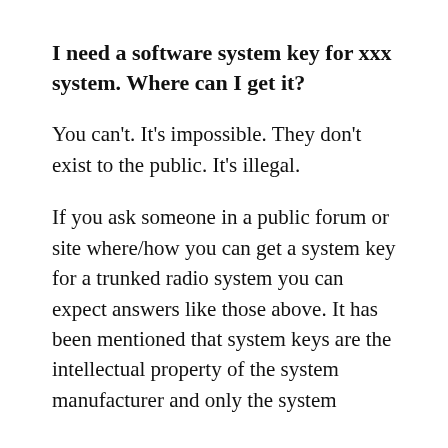I need a software system key for xxx system. Where can I get it?
You can't. It's impossible. They don't exist to the public. It's illegal.
If you ask someone in a public forum or site where/how you can get a system key for a trunked radio system you can expect answers like those above. It has been mentioned that system keys are the intellectual property of the system manufacturer and only the system administrator is allowed to possess them and this may be true. This is one of those gray areas where no real precedence has been set. I personally don't know the legality of having…